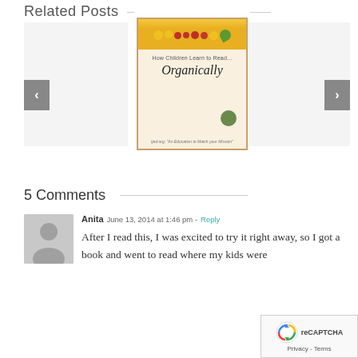Related Posts
[Figure (illustration): Blog post carousel with three panels: left gray placeholder, center showing a book cover 'How Children Learn to Read... Organically' with fruit imagery, right gray placeholder. Navigation arrows on left and right sides.]
5 Comments
[Figure (illustration): Gray avatar silhouette icon for user Anita]
Anita  June 13, 2014 at 1:46 pm - Reply
After I read this, I was excited to try it right away, so I got a book and went to read where my kids were